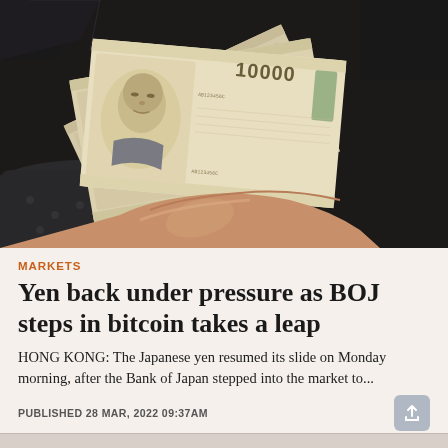[Figure (photo): A hand holding a fan of Japanese 10000 yen banknotes against a dark background]
MARKETS
Yen back under pressure as BOJ steps in bitcoin takes a leap
HONG KONG: The Japanese yen resumed its slide on Monday morning, after the Bank of Japan stepped into the market to...
PUBLISHED 28 MAR, 2022 09:37AM